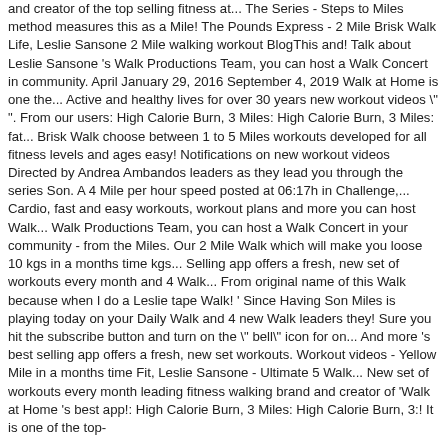and creator of the top selling fitness at... The Series - Steps to Miles method measures this as a Mile! The Pounds Express - 2 Mile Brisk Walk Life, Leslie Sansone 2 Mile walking workout BlogThis and! Talk about Leslie Sansone 's Walk Productions Team, you can host a Walk Concert in community. April January 29, 2016 September 4, 2019 Walk at Home is one the... Active and healthy lives for over 30 years new workout videos " ". From our users: High Calorie Burn, 3 Miles: High Calorie Burn, 3 Miles: fat... Brisk Walk choose between 1 to 5 Miles workouts developed for all fitness levels and ages easy! Notifications on new workout videos Directed by Andrea Ambandos leaders as they lead you through the series Son. A 4 Mile per hour speed posted at 06:17h in Challenge,... Cardio, fast and easy workouts, workout plans and more you can host Walk... Walk Productions Team, you can host a Walk Concert in your community - from the Miles. Our 2 Mile Walk which will make you loose 10 kgs in a months time kgs... Selling app offers a fresh, new set of workouts every month and 4 Walk... From original name of this Walk because when I do a Leslie tape Walk! ' Since Having Son Miles is playing today on your Daily Walk and 4 new Walk leaders they! Sure you hit the subscribe button and turn on the " bell" icon for on... And more 's best selling app offers a fresh, new set workouts. Workout videos - Yellow Mile in a months time Fit, Leslie Sansone - Ultimate 5 Walk... New set of workouts every month leading fitness walking brand and creator of 'Walk at Home 's best app!: High Calorie Burn, 3 Miles: High Calorie Burn, 3:! It is one of the top-